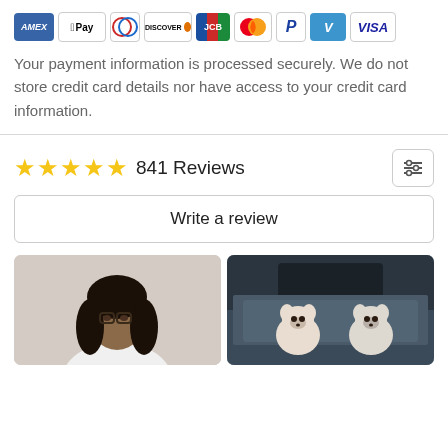[Figure (infographic): Row of payment method icons: AMEX, Apple Pay, Diners Club, Discover, JCB, Mastercard, PayPal, Venmo, VISA]
Your payment information is processed securely. We do not store credit card details nor have access to your credit card information.
841 Reviews
Write a review
[Figure (photo): Profile photo of a woman with glasses and long dark hair, wearing a white top, against a light grey background]
[Figure (photo): Photo of a car's sunroof/window area with two small dogs visible inside the vehicle]